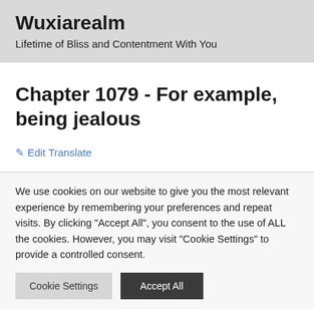Wuxiarealm
Lifetime of Bliss and Contentment With You
Chapter 1079 - For example, being jealous
✎ Edit Translate
We use cookies on our website to give you the most relevant experience by remembering your preferences and repeat visits. By clicking "Accept All", you consent to the use of ALL the cookies. However, you may visit "Cookie Settings" to provide a controlled consent.